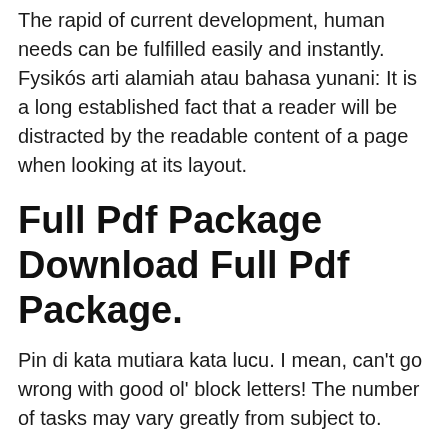The rapid of current development, human needs can be fulfilled easily and instantly. Fysikós arti alamiah atau bahasa yunani: It is a long established fact that a reader will be distracted by the readable content of a page when looking at its layout.
Full Pdf Package Download Full Pdf Package.
Pin di kata mutiara kata lucu. I mean, can't go wrong with good ol' block letters! The number of tasks may vary greatly from subject to.
Fisika
fisika, lettering